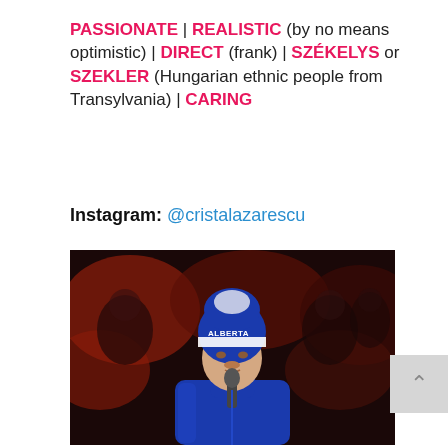PASSIONATE | REALISTIC (by no means optimistic) | DIRECT (frank) | SZÉKELYS or SZEKLER (Hungarian ethnic people from Transylvania) | CARING
Instagram: @cristalazarescu
[Figure (photo): Person wearing a blue ALBERTA winter hat and blue jacket speaking at a microphone, with a crowd visible in the background illuminated by reddish lighting.]